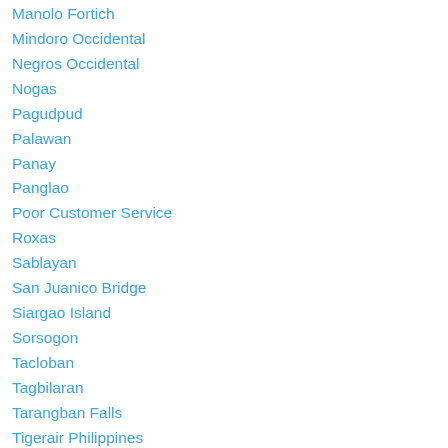Manolo Fortich
Mindoro Occidental
Negros Occidental
Nogas
Pagudpud
Palawan
Panay
Panglao
Poor Customer Service
Roxas
Sablayan
San Juanico Bridge
Siargao Island
Sorsogon
Tacloban
Tagbilaran
Tarangban Falls
Tigerair Philippines
Tigerairways/seair Experience
Zamboanga Del Norte